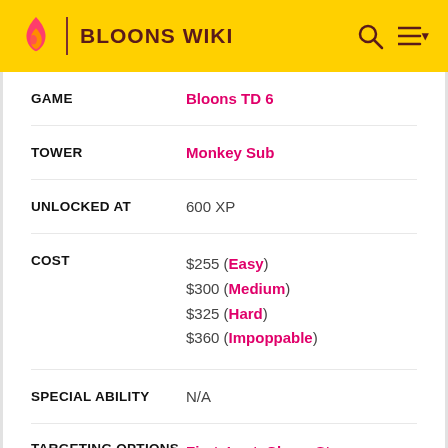BLOONS WIKI
| Field | Value |
| --- | --- |
| GAME | Bloons TD 6 |
| TOWER | Monkey Sub |
| UNLOCKED AT | 600 XP |
| COST | $255 (Easy)
$300 (Medium)
$325 (Hard)
$360 (Impoppable) |
| SPECIAL ABILITY | N/A |
| TARGETING OPTIONS | First, Last, Close, Strong, Submerge (with Submerge and Support) |